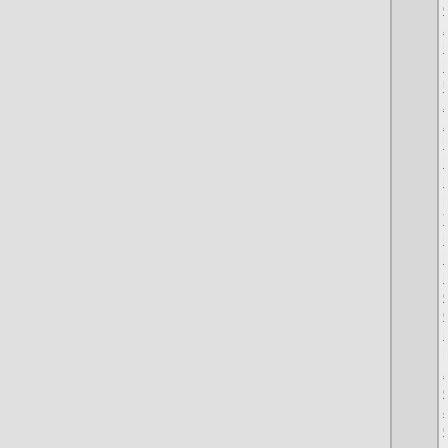Custom MLB jerseys
Air Force red
Nike com
High top Air Force ones
Ultra Boost mid
Adidas NMD r1 2019
Air Force shoes
Pandora Bracelet
Pandora stores toronto
Nike revolution
[url=https://www.nikeshoesoutle... women's running shoe[/url]
Yeezy shoes
Nike presto
Pandora deals 2019
Pandora Bracelet sizes
Cheap Nike Air Max
Goyard pouch
Nike free rn motion flyknit 20...
[url=https://www.adidasstan-sm...
Adidas 2019 cricket shoes
Cowboys sweatshirt
Jordan flight 23
Cheap Nikes for men
Adidas boots mens
Air Max flair
Air Max 97 wotherspoon
Nike sb blazer mid
Yeezy v2 350 2019
Nike walking shoes for wome...
Reversible basketball jerseys...
Famous footwear Adidas
Celtics sweatshirt
Adidas Pure Boost x
Boys Nike shoes
Adidas football jerseys
Nike Vapormax plus
[url=https://www.nikeoutletsto...